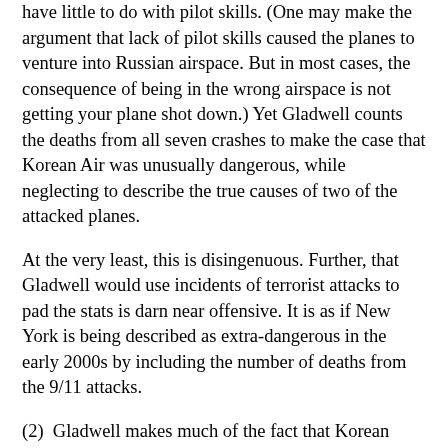have little to do with pilot skills. (One may make the argument that lack of pilot skills caused the planes to venture into Russian airspace. But in most cases, the consequence of being in the wrong airspace is not getting your plane shot down.) Yet Gladwell counts the deaths from all seven crashes to make the case that Korean Air was unusually dangerous, while neglecting to describe the true causes of two of the attacked planes.
At the very least, this is disingenuous. Further, that Gladwell would use incidents of terrorist attacks to pad the stats is darn near offensive. It is as if New York is being described as extra-dangerous in the early 2000s by including the number of deaths from the 9/11 attacks.
(2)  Gladwell makes much of the fact that Korean culture emphasizes hierarchy, and argues that the captain is accorded more deference based on his rank. But anyone familiar with Korean culture knows that the professional ranking is not the only determinant of social hierarchy. Another determinant, for example, is age. Still another is the school class. Still another is the prestige of their schools, or